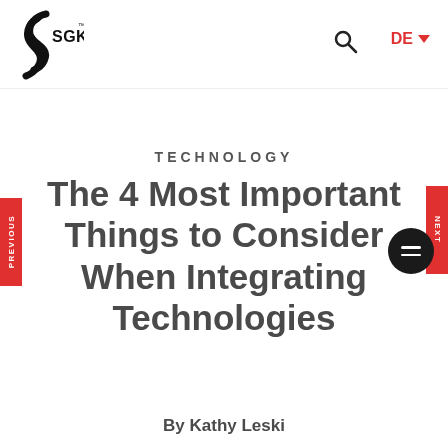[Figure (logo): SGK logo with stylized S-shaped figure and SGK text]
TECHNOLOGY
The 4 Most Important Things to Consider When Integrating Technologies
By Kathy Leski